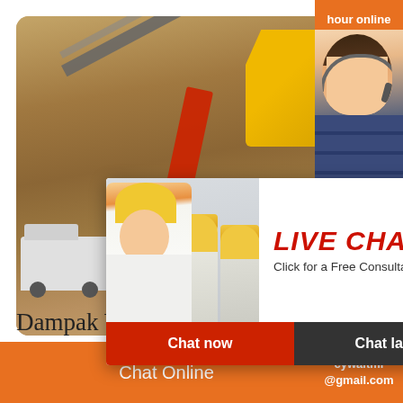[Figure (screenshot): Construction site aerial view with excavators, conveyor belts, heavy machinery and dump trucks on dirt terrain. Overlaid with a live chat popup showing workers in hard hats, LIVE CHAT title in red, Click for a Free Consultation subtitle, Chat now and Chat later buttons. Right side has an orange sidebar with hour online text, customer service agent with headset photo, Click to chat button, and Enquiry label.]
Dampak Vertikal Crusher
Chat Online
cywaitml @gmail.com